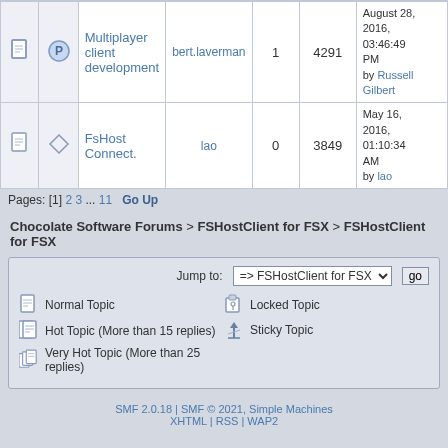|  |  | Topic | Started by | Replies | Views | Last post |
| --- | --- | --- | --- | --- | --- | --- |
| [icon] | [sticky] | Multiplayer client development | bert.laverman | 1 | 4291 | August 28, 2016, 03:46:49 PM by Russell Gilbert |
| [icon] | [icon] | FsHost Connect. | lao | 0 | 3849 | May 16, 2016, 01:10:34 AM by lao |
Pages: [1] 2 3 ... 11  Go Up
Chocolate Software Forums > FSHostClient for FSX > FSHostClient for FSX
Jump to: => FSHostClient for FSX  go
Normal Topic
Hot Topic (More than 15 replies)
Very Hot Topic (More than 25 replies)
Locked Topic
Sticky Topic
SMF 2.0.18 | SMF © 2021, Simple Machines  XHTML | RSS | WAP2